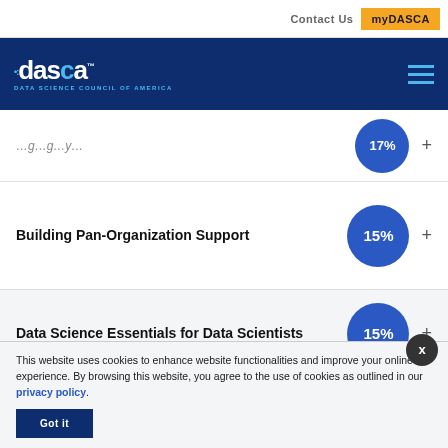Contact Us | myDASCA
[Figure (logo): DASCA - Data Science Council of America logo in white on dark blue background]
17%
Building Pan-Organization Support 15%
Data Science Essentials for Data Scientists 15%
This website uses cookies to enhance website functionalities and improve your online experience. By browsing this website, you agree to the use of cookies as outlined in our privacy policy.
Got it